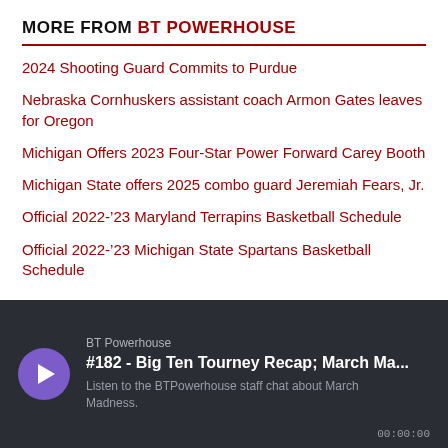MORE FROM BT POWERHOUSE
2024 Shooting Guard Commits to Purdue
Nebraska Cornhuskers assistant coach Armon Gates leaves for Oregon
Michigan Offers 2023 Four-Star Power Forward Carey Booth
Michigan State offers 2025 combo guard Jeremiah Fears, Jr.
Official 2022-'23 Maryland Terrapins Basketball Schedule
Official 2022-'23 Michigan State Spartans Basketball Schedule
[Figure (other): Podcast widget showing BT Powerhouse episode #182 - Big Ten Tourney Recap; March Ma... with a purple play button, dark background, and description: Listen to the BTPowerhouse staff chat about March Madness.]